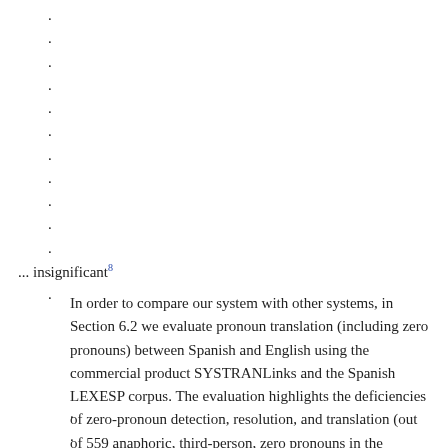.
.
.
.
.
.
.
.
.
.
.
.
.
... insignificant8
In order to compare our system with other systems, in Section 6.2 we evaluate pronoun translation (including zero pronouns) between Spanish and English using the commercial product SYSTRANLinks and the Spanish LEXESP corpus. The evaluation highlights the deficiencies of zero-pronoun detection, resolution, and translation (out of 559 anaphoric, third-person, zero pronouns in the LEXESP corpus, only 266 were correctly translated into English--a precision of only 47.6%).
.
.
.